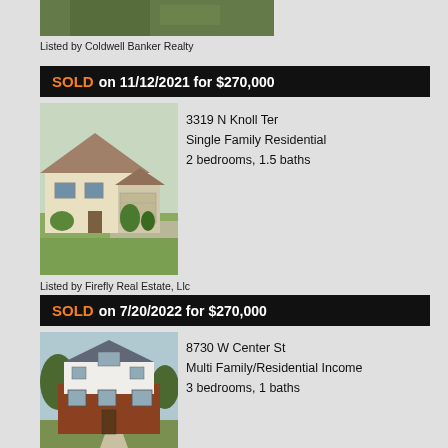[Figure (photo): Top portion of a house photo, mostly foliage/trees visible]
Listed by Coldwell Banker Realty
SOLD on 11/12/2021 for $270,000
[Figure (photo): Ranch-style single family home with attached garage, green lawn, trees]
3319 N Knoll Ter
Single Family Residential
2 bedrooms, 1.5 baths
Listed by Firefly Real Estate, Llc
SOLD on 7/20/2022 for $270,000
[Figure (photo): Tudor/cape cod style brick and white multi-family home with trees and walkway]
8730 W Center St
Multi Family/Residential Income
3 bedrooms, 1 baths